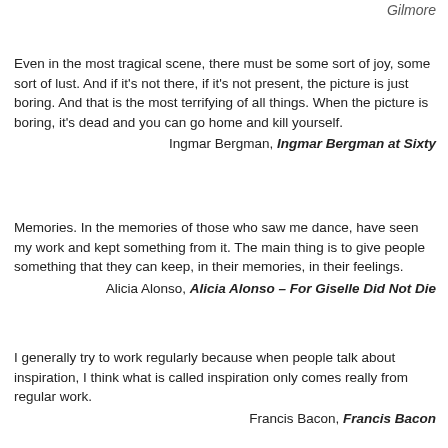Gilmore
Even in the most tragical scene, there must be some sort of joy, some sort of lust. And if it's not there, if it's not present, the picture is just boring. And that is the most terrifying of all things. When the picture is boring, it's dead and you can go home and kill yourself.
Ingmar Bergman, Ingmar Bergman at Sixty
Memories. In the memories of those who saw me dance, have seen my work and kept something from it. The main thing is to give people something that they can keep, in their memories, in their feelings.
Alicia Alonso, Alicia Alonso – For Giselle Did Not Die
I generally try to work regularly because when people talk about inspiration, I think what is called inspiration only comes really from regular work.
Francis Bacon, Francis Bacon